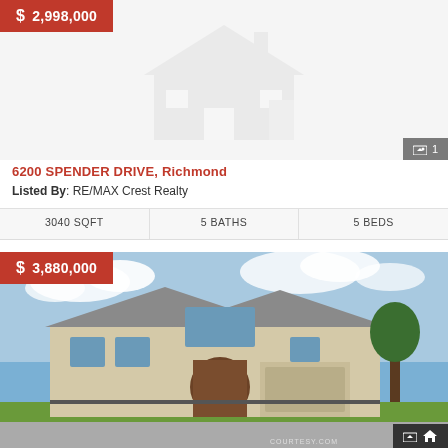$ 2,998,000
[Figure (illustration): Placeholder house icon in light gray]
1
6200 SPENDER DRIVE, Richmond
Listed By: RE/MAX Crest Realty
3040 SQFT | 5 BATHS | 5 BEDS
$ 3,880,000
[Figure (photo): Two-story stone and brick residential home with blue sky background, green lawn, and driveway]